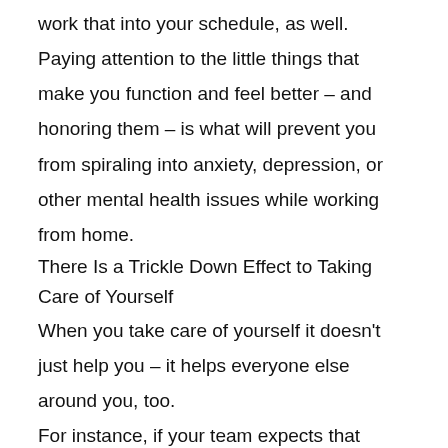work that into your schedule, as well.
Paying attention to the little things that make you function and feel better – and honoring them – is what will prevent you from spiraling into anxiety, depression, or other mental health issues while working from home.
There Is a Trickle Down Effect to Taking Care of Yourself
When you take care of yourself it doesn't just help you – it helps everyone else around you, too.
For instance, if your team expects that you're immediately available every time they call you, they're going to continue to call you whenever they want. And if you work from home, where the lines